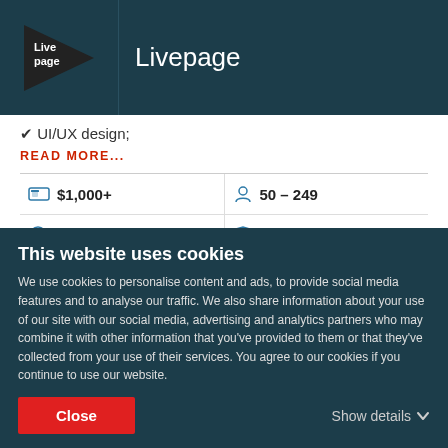Livepage
✔ UI/UX design;
READ MORE...
| $1,000+ | 50 - 249 |
| $25 - $49 / hr | Founded 2011 |
HEADQUARTERS
This website uses cookies
We use cookies to personalise content and ads, to provide social media features and to analyse our traffic. We also share information about your use of our site with our social media, advertising and analytics partners who may combine it with other information that you've provided to them or that they've collected from your use of their services. You agree to our cookies if you continue to use our website.
Close
Show details